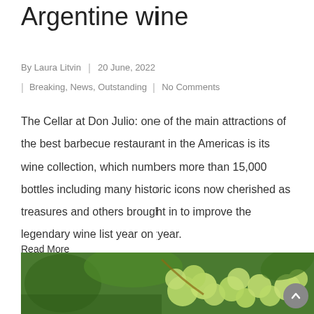Argentine wine
By Laura Litvin  |  20 June, 2022
| Breaking, News, Outstanding | No Comments
The Cellar at Don Julio: one of the main attractions of the best barbecue restaurant in the Americas is its wine collection, which numbers more than 15,000 bottles including many historic icons now cherished as treasures and others brought in to improve the legendary wine list year on year.
Read More
[Figure (photo): Close-up photo of green grapes on a vine with leaves]